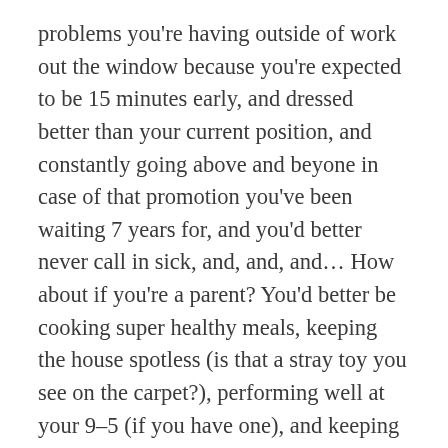problems you're having outside of work out the window because you're expected to be 15 minutes early, and dressed better than your current position, and constantly going above and beyone in case of that promotion you've been waiting 7 years for, and you'd better never call in sick, and, and, and… How about if you're a parent? You'd better be cooking super healthy meals, keeping the house spotless (is that a stray toy you see on the carpet?), performing well at your 9–5 (if you have one), and keeping up on that side hustle (MaryKay, Scentsy, BeachBody?) to make enough extra money to afford a top tier day care, and, and, and… The list goes on, and if we